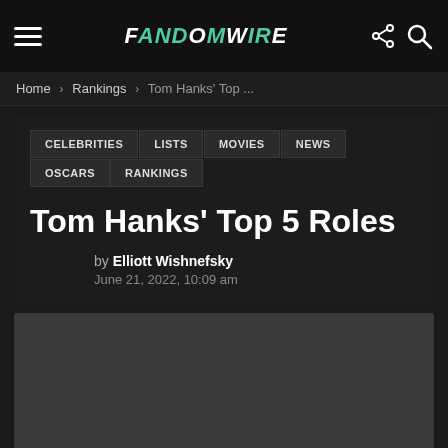FandomWire
Home › Rankings › Tom Hanks' Top ...
CELEBRITIES
LISTS
MOVIES
NEWS
OSCARS
RANKINGS
Tom Hanks' Top 5 Roles
by Elliott Wishnefsky
June 21, 2022, 10:09 am
[Figure (photo): Article thumbnail image placeholder (dark gray box)]